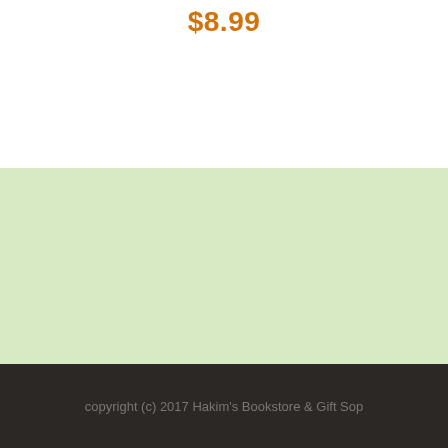$8.99
copyright (c) 2017 Hakim's Bookstore & Gift Sop